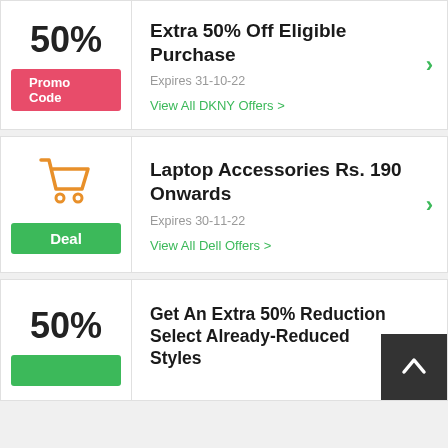[Figure (infographic): Promo code card: 50% off DKNY, Extra 50% Off Eligible Purchase, Expires 31-10-22]
Extra 50% Off Eligible Purchase
Expires 31-10-22
View All DKNY Offers >
[Figure (infographic): Deal card: shopping cart icon, Laptop Accessories Rs. 190 Onwards, Expires 30-11-22]
Laptop Accessories Rs. 190 Onwards
Expires 30-11-22
View All Dell Offers >
[Figure (infographic): Promo card: 50%, Get An Extra 50% Reduction Select Already-Reduced Styles]
Get An Extra 50% Reduction Select Already-Reduced Styles